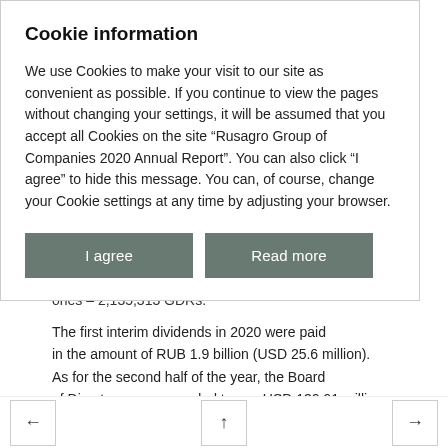Cookie information
We use Cookies to make your visit to our site as convenient as possible. If you continue to view the pages without changing your settings, it will be assumed that you accept all Cookies on the site “Rusagro Group of Companies 2020 Annual Report”. You can also click “I agree” to hide this message. You can, of course, change your Cookie settings at any time by adjusting your browser.
I agree
Read more
ones – 2,135,313 GDRs.
The first interim dividends in 2020 were paid in the amount of RUB 1.9 billion (USD 25.6 million). As for the second half of the year, the Board of Directors recommended to pay USD 139.91 million. Thus, the total amount of dividends for 2020 will amount to USD 165.47 million; payment per share will